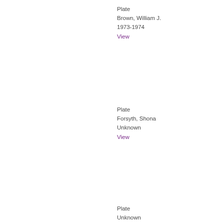Plate
Brown, William J.
1973-1974
View
Plate
Forsyth, Shona
Unknown
View
Plate
Unknown